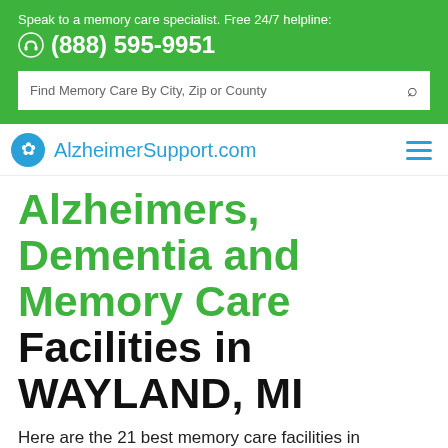Speak to a memory care specialist. Free 24/7 helpline: (888) 595-9951
Find Memory Care By City, Zip or County
AlzheimerSupport.com
Alzheimers, Dementia and Memory Care Facilities in WAYLAND, MI
Here are the 21 best memory care facilities in WAYLAND, Michigan. These care homes for dementia and Alzheimer in WAYLAND may be part of assisted living facilities and communities, or are stand-alone memory care units. Call 888-